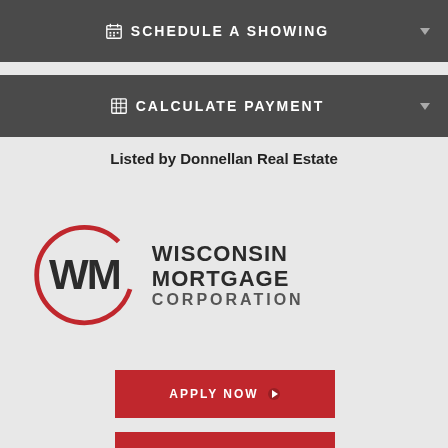[Figure (other): Dark gray button with calendar icon and text SCHEDULE A SHOWING with dropdown arrow]
[Figure (other): Dark gray button with grid/calculator icon and text CALCULATE PAYMENT with dropdown arrow]
Listed by Donnellan Real Estate
[Figure (logo): Wisconsin Mortgage Corporation logo — circular WM monogram in red and dark gray, with WISCONSIN MORTGAGE CORPORATION text]
[Figure (other): Red APPLY NOW button with right arrow]
[Figure (other): Red partial button at bottom edge]